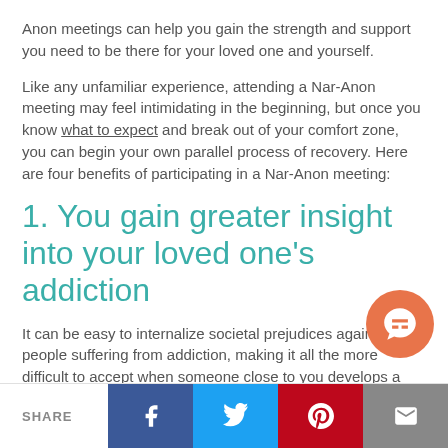Anon meetings can help you gain the strength and support you need to be there for your loved one and yourself.
Like any unfamiliar experience, attending a Nar-Anon meeting may feel intimidating in the beginning, but once you know what to expect and break out of your comfort zone, you can begin your own parallel process of recovery. Here are four benefits of participating in a Nar-Anon meeting:
1. You gain greater insight into your loved one’s addiction
It can be easy to internalize societal prejudices against people suffering from addiction, making it all the more difficult to accept when someone close to you develops a substance disorder. You may worry that your loved one will encounter